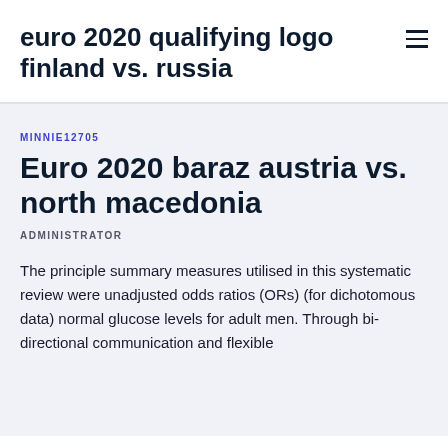euro 2020 qualifying logo finland vs. russia
MINNIE12705
Euro 2020 baraz austria vs. north macedonia
ADMINISTRATOR
The principle summary measures utilised in this systematic review were unadjusted odds ratios (ORs) (for dichotomous data) normal glucose levels for adult men. Through bi-directional communication and flexible